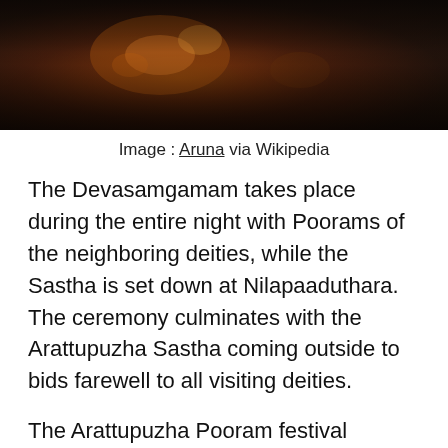[Figure (photo): Dark nighttime photo with orange and amber firelight, likely from a procession or festival scene]
Image : Aruna via Wikipedia
The Devasamgamam takes place during the entire night with Poorams of the neighboring deities, while the Sastha is set down at Nilapaaduthara. The ceremony culminates with the Arattupuzha Sastha coming outside to bids farewell to all visiting deities.
The Arattupuzha Pooram festival season is very opportune time to visit Trissur. You can plan your Kerala tour package in such a